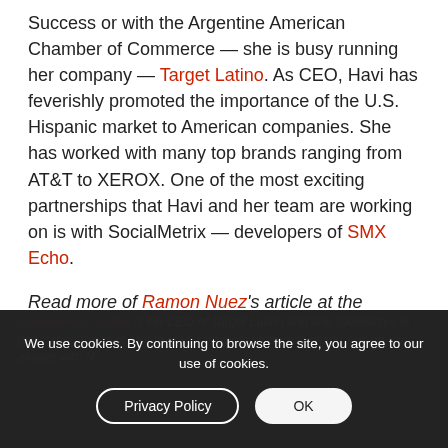Success or with the Argentine American Chamber of Commerce — she is busy running her company — Target Latino. As CEO, Havi has feverishly promoted the importance of the U.S. Hispanic market to American companies. She has worked with many top brands ranging from AT&T to XEROX. One of the most exciting partnerships that Havi and her team are working on is with SocialMetrix — developers of SMX Echo.
Read more of Ramon Nuez's article at the Huffington Post
Claudia Havi Goffan is the CEO of Target Latino and she specializes in generating Word-of-Mouth via Grassroots strategies online and off-line always with N...
We use cookies. By continuing to browse the site, you agree to our use of cookies.